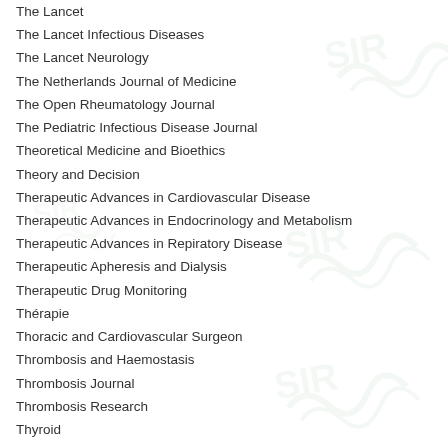The Lancet
The Lancet Infectious Diseases
The Lancet Neurology
The Netherlands Journal of Medicine
The Open Rheumatology Journal
The Pediatric Infectious Disease Journal
Theoretical Medicine and Bioethics
Theory and Decision
Therapeutic Advances in Cardiovascular Disease
Therapeutic Advances in Endocrinology and Metabolism
Therapeutic Advances in Repiratory Disease
Therapeutic Apheresis and Dialysis
Therapeutic Drug Monitoring
Thérapie
Thoracic and Cardiovascular Surgeon
Thrombosis and Haemostasis
Thrombosis Journal
Thrombosis Research
Thyroid
Tiempo Bioquimico